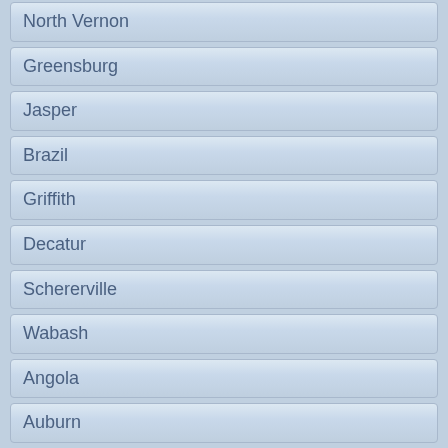North Vernon
Greensburg
Jasper
Brazil
Griffith
Decatur
Schererville
Wabash
Angola
Auburn
Dyer
Washington
Zionsville
Monticello